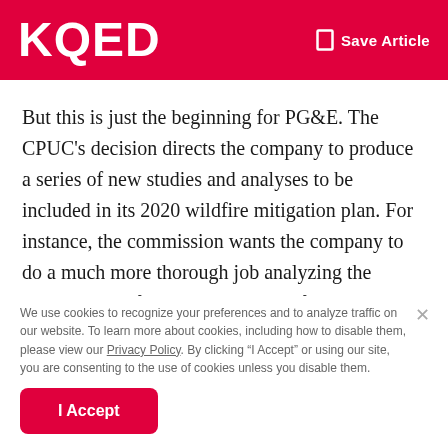KQED   Save Article
But this is just the beginning for PG&E. The CPUC's decision directs the company to produce a series of new studies and analyses to be included in its 2020 wildfire mitigation plan. For instance, the commission wants the company to do a much more thorough job analyzing the potential benefits and drawbacks of the measures it's undertaking and to what degree those measures make its system safer.
We use cookies to recognize your preferences and to analyze traffic on our website. To learn more about cookies, including how to disable them, please view our Privacy Policy. By clicking “I Accept” or using our site, you are consenting to the use of cookies unless you disable them.
I Accept